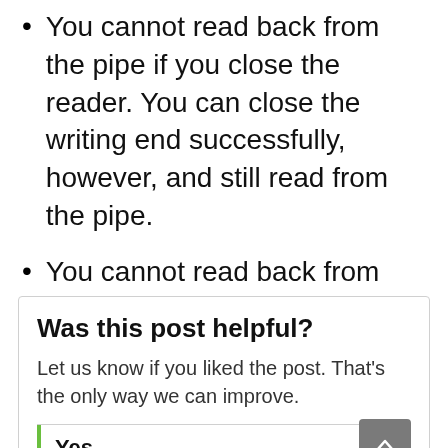You cannot read back from the pipe if you close the reader. You can close the writing end successfully, however, and still read from the pipe.
You cannot read back from the pipe if the thread which wrote to it ends.
Happy Learning !!
Was this post helpful?
Let us know if you liked the post. That's the only way we can improve.
Yes